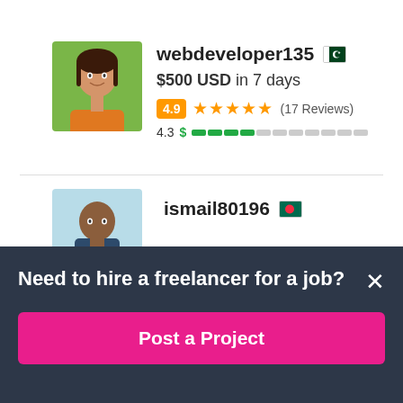[Figure (screenshot): Screenshot of a freelancer listing platform showing two freelancer profiles. First: webdeveloper135 (Pakistan flag), $500 USD in 7 days, rating 4.9 with 5 stars (17 Reviews), quality score 4.3. Second: ismail80196 (Bangladesh flag), partially visible. Bottom has dark overlay banner: 'Need to hire a freelancer for a job?' with X close button and pink 'Post a Project' button.]